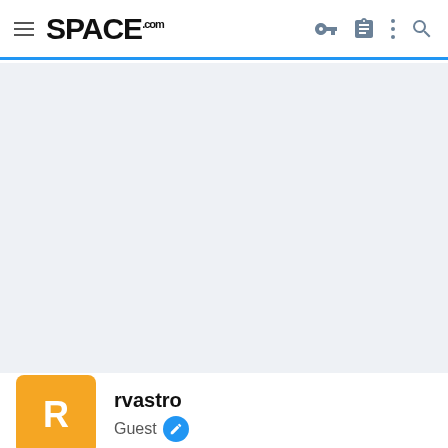SPACE.com navigation bar with hamburger menu, logo, key icon, clipboard icon, more options icon, and search icon
[Figure (screenshot): Light blue-gray empty content area placeholder]
rvastro
Guest